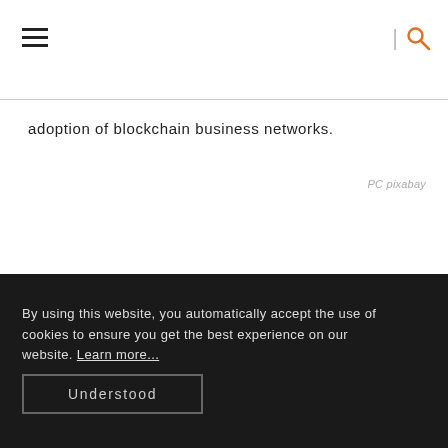[hamburger menu icon] | [search icon]
adoption of blockchain business networks.
PC pixabay
By using this website, you automatically accept the use of cookies to ensure you get the best experience on our website. Learn more...
Understood